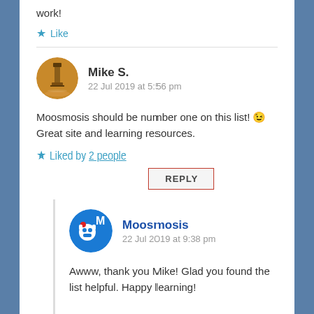work!
★ Like
Mike S. — 22 Jul 2019 at 5:56 pm
Moosmosis should be number one on this list! 😉 Great site and learning resources.
★ Liked by 2 people
REPLY
Moosmosis — 22 Jul 2019 at 9:38 pm
Awww, thank you Mike! Glad you found the list helpful. Happy learning!